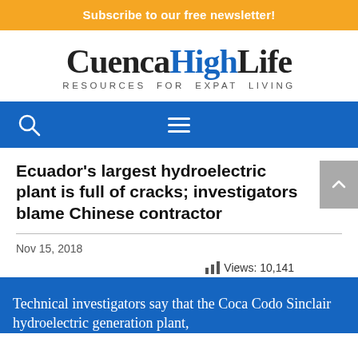Subscribe to our free newsletter!
[Figure (logo): CuencaHighLife logo with tagline RESOURCES FOR EXPAT LIVING]
[Figure (screenshot): Navigation bar with search icon and hamburger menu on blue background]
Ecuador's largest hydroelectric plant is full of cracks; investigators blame Chinese contractor
Nov 15, 2018
Views: 10,141
Technical investigators say that the Coca Codo Sinclair hydroelectric generation plant,